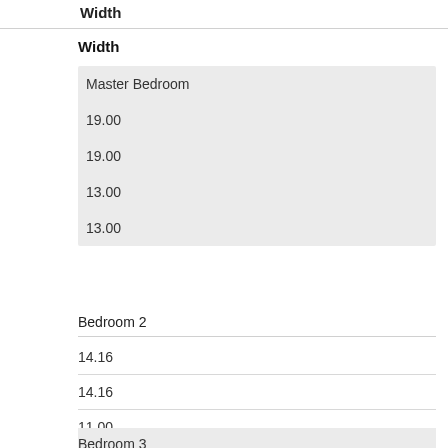Width
Width
| Master Bedroom |
| 19.00 |
| 19.00 |
| 13.00 |
| 13.00 |
Bedroom 2
| 14.16 |
| 14.16 |
| 11.00 |
| 11.00 |
Bedroom 3